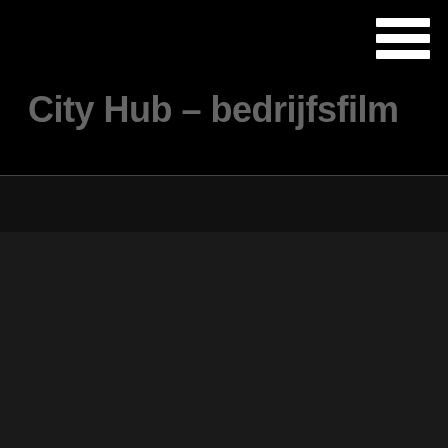☰ (hamburger menu icon)
City Hub – bedrijfsfilm
We gebruiken cookies op onze website om u de meest relevante ervaring te bieden door uw voorkeuren en herhaalde bezoeken te onthouden. Door op "Alles accepteren" te klikken, stemt u in met het gebruik van ALLE cookies. U kunt echter naar "Cookie-instellingen" gaan om een gecontroleerde toestemming te geven.
Cookie instellingen
Alles accepteren
Dutch